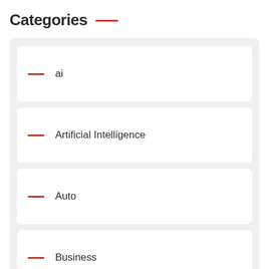Categories
ai
Artificial Intelligence
Auto
Business
Career